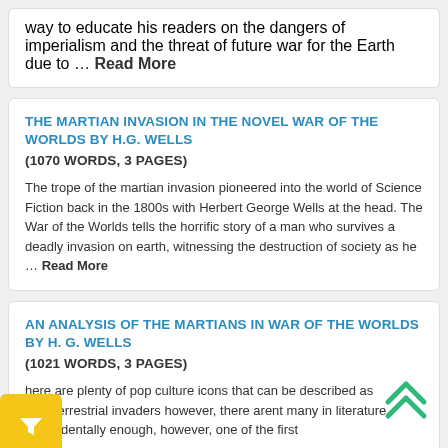way to educate his readers on the dangers of imperialism and the threat of future war for the Earth due to … Read More
THE MARTIAN INVASION IN THE NOVEL WAR OF THE WORLDS BY H.G. WELLS
(1070 WORDS, 3 PAGES)
The trope of the martian invasion pioneered into the world of Science Fiction back in the 1800s with Herbert George Wells at the head. The War of the Worlds tells the horrific story of a man who survives a deadly invasion on earth, witnessing the destruction of society as he … Read More
AN ANALYSIS OF THE MARTIANS IN WAR OF THE WORLDS BY H. G. WELLS
(1021 WORDS, 3 PAGES)
here are plenty of pop culture icons that can be described as extraterrestrial invaders however, there arent many in literature. Coincidentally enough, however, one of the first